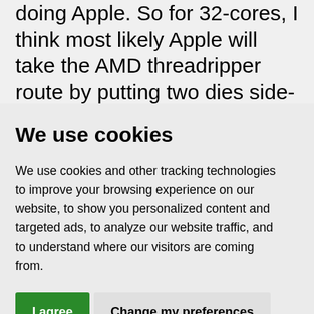doing Apple. So for 32-cores, I think most likely Apple will take the AMD threadripper route by putting two dies side-by-side in a single package. You will take a performance
We use cookies
We use cookies and other tracking technologies to improve your browsing experience on our website, to show you personalized content and targeted ads, to analyze our website traffic, and to understand where our visitors are coming from.
I agree
Change my preferences